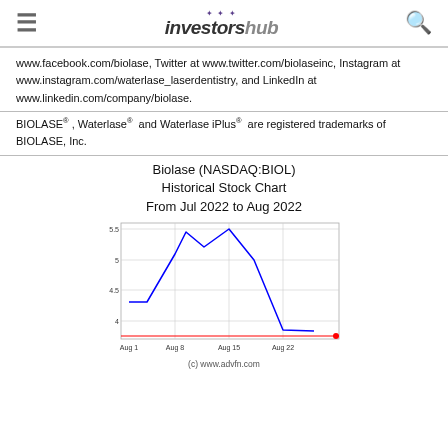investorshub
www.facebook.com/biolase, Twitter at www.twitter.com/biolaseinc, Instagram at www.instagram.com/waterlase_laserdentistry, and LinkedIn at www.linkedin.com/company/biolase.
BIOLASE®, Waterlase® and Waterlase iPlus® are registered trademarks of BIOLASE, Inc.
[Figure (line-chart): Biolase (NASDAQ:BIOL) Historical Stock Chart From Jul 2022 to Aug 2022]